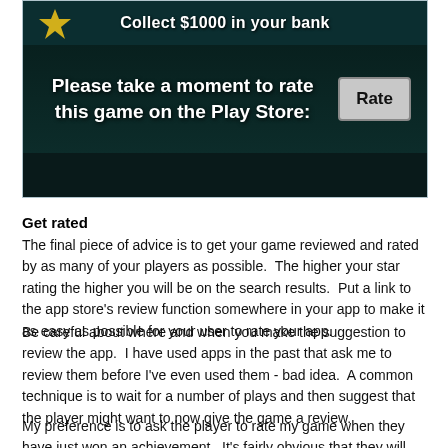[Figure (screenshot): Mobile game screenshot showing 'Collect $1000 in your bank' text at top, a prompt saying 'Please take a moment to rate this game on the Play Store:' with a 'Rate' button on dark background]
Get rated
The final piece of advice is to get your game reviewed and rated by as many of your players as possible.  The higher your star rating the higher you will be on the search results.  Put a link to the app store's review function somewhere in your app to make it as easy as possible for your user to rate your app.
Be careful about where and when you make the suggestion to review the app.  I have used apps in the past that ask me to review them before I've even used them - bad idea.  A common technique is to wait for a number of plays and then suggest that the player might want to now give the game a review.
My preference is to ask the player to rate my game when they have just won an achievement.  It's fairly obvious that they will probably be